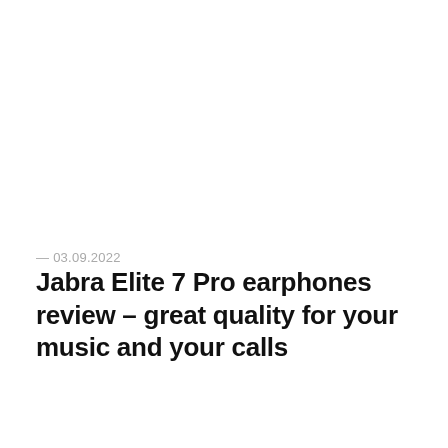— 03.09.2022
Jabra Elite 7 Pro earphones review – great quality for your music and your calls